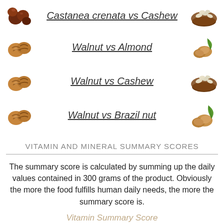Castanea crenata vs Cashew
Walnut vs Almond
Walnut vs Cashew
Walnut vs Brazil nut
VITAMIN AND MINERAL SUMMARY SCORES
The summary score is calculated by summing up the daily values contained in 300 grams of the product. Obviously the more the food fulfills human daily needs, the more the summary score is.
Vitamin Summary Score